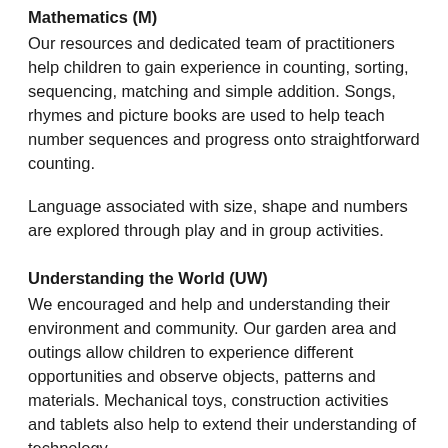Mathematics (M)
Our resources and dedicated team of practitioners help children to gain experience in counting, sorting, sequencing, matching and simple addition. Songs, rhymes and picture books are used to help teach number sequences and progress onto straightforward counting.
Language associated with size, shape and numbers are explored through play and in group activities.
Understanding the World (UW)
We encouraged and help and understanding their environment and community. Our garden area and outings allow children to experience different opportunities and observe objects, patterns and materials. Mechanical toys, construction activities and tablets also help to extend their understanding of technology.
Expressive Arts and Design (EAD)